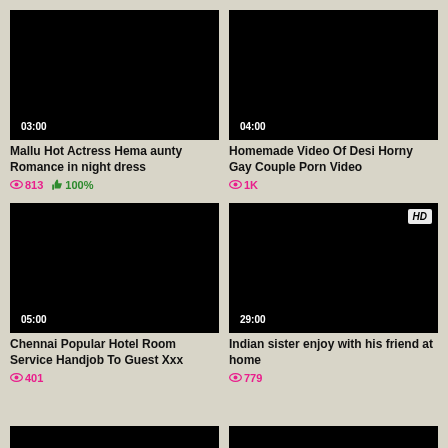[Figure (screenshot): Black video thumbnail with duration badge 03:00]
Mallu Hot Actress Hema aunty Romance in night dress
813 views, 100% likes
[Figure (screenshot): Black video thumbnail with duration badge 04:00]
Homemade Video Of Desi Horny Gay Couple Porn Video
1K views
[Figure (screenshot): Black video thumbnail with duration badge 05:00]
Chennai Popular Hotel Room Service Handjob To Guest Xxx
401 views
[Figure (screenshot): Black video thumbnail with HD badge and duration badge 29:00]
Indian sister enjoy with his friend at home
779 views